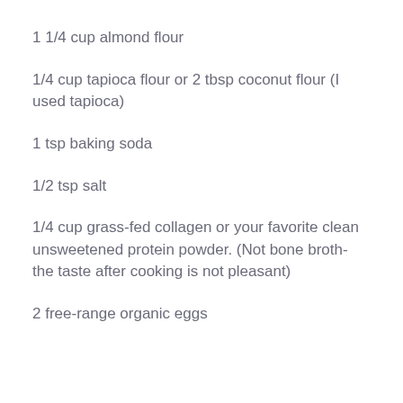1 1/4 cup almond flour
1/4 cup tapioca flour or 2 tbsp coconut flour (I used tapioca)
1 tsp baking soda
1/2 tsp salt
1/4 cup grass-fed collagen or your favorite clean unsweetened protein powder. (Not bone broth- the taste after cooking is not pleasant)
2 free-range organic eggs